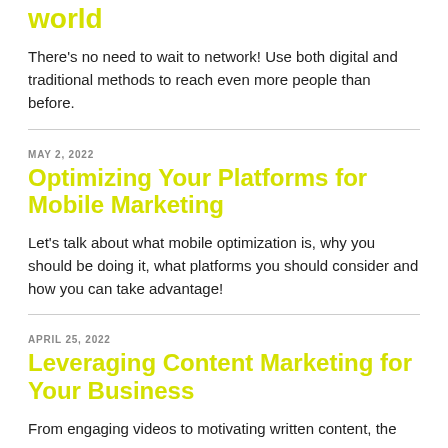world
There's no need to wait to network! Use both digital and traditional methods to reach even more people than before.
MAY 2, 2022
Optimizing Your Platforms for Mobile Marketing
Let's talk about what mobile optimization is, why you should be doing it, what platforms you should consider and how you can take advantage!
APRIL 25, 2022
Leveraging Content Marketing for Your Business
From engaging videos to motivating written content, the